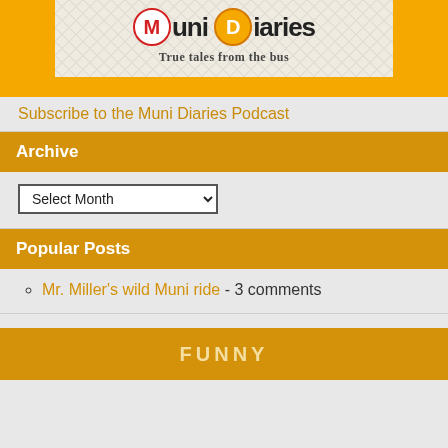[Figure (logo): Muni Diaries podcast logo - orange background with inner cream panel showing 'Muni Diaries' text with circled M and D letters, tagline 'True tales from the bus']
Subscribe to the Muni Diaries Podcast
Archive
Select Month
Popular Posts
Mr. Miller's wild Muni ride - 3 comments
FUNNY